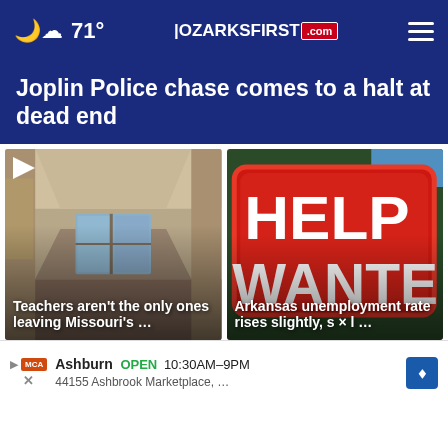71° | OZARKSFIRST.com
Joplin Police chase comes to a halt at dead end
[Figure (photo): School hallway interior, empty corridor with large windows and fluorescent lighting]
Teachers aren't the only ones leaving Missouri's …
[Figure (photo): Help Wanted sign on red background]
Arkansas unemployment rate rises slightly, s × l …
Ashburn OPEN 10:30AM–9PM 44155 Ashbrook Marketplace, …